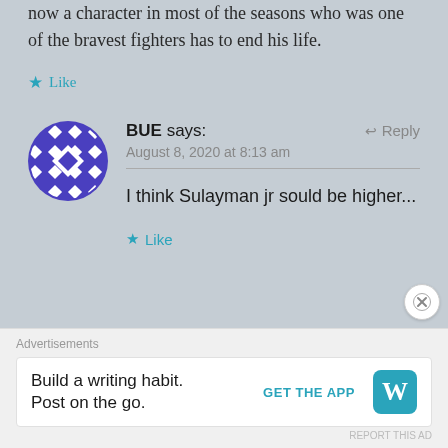now a character in most of the seasons who was one of the bravest fighters has to end his life.
Like
BUE says: August 8, 2020 at 8:13 am
I think Sulayman jr sould be higher...
Like
Advertisements
Build a writing habit. Post on the go. GET THE APP